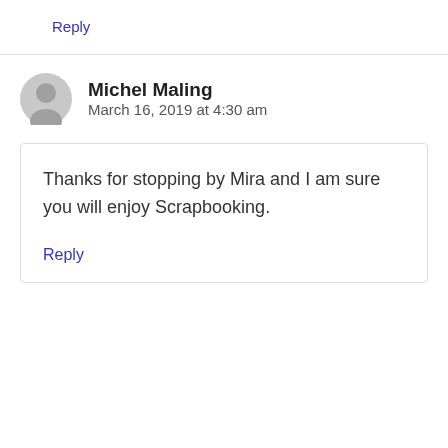Reply
Michel Maling
March 16, 2019 at 4:30 am
Thanks for stopping by Mira and I am sure you will enjoy Scrapbooking.
Reply